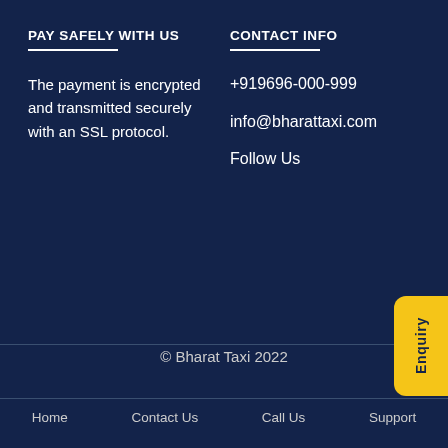PAY SAFELY WITH US
The payment is encrypted and transmitted securely with an SSL protocol.
CONTACT INFO
+919696-000-999
info@bharattaxi.com
Follow Us
© Bharat Taxi 2022
Home
Contact Us
Call Us
Support